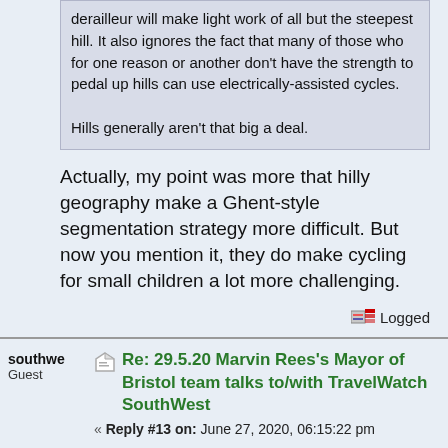derailleur will make light work of all but the steepest hill. It also ignores the fact that many of those who for one reason or another don't have the strength to pedal up hills can use electrically-assisted cycles.

Hills generally aren't that big a deal.
Actually, my point was more that hilly geography make a Ghent-style segmentation strategy more difficult. But now you mention it, they do make cycling for small children a lot more challenging.
Logged
southwe
Guest
Re: 29.5.20 Marvin Rees's Mayor of Bristol team talks to/with TravelWatch SouthWest
« Reply #13 on: June 27, 2020, 06:15:22 pm »
Who actually wants to listen to this useless idiot, full of false promises.